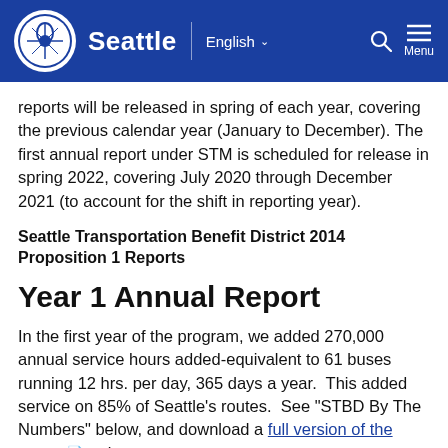Seattle | English ∨  🔍  ≡ Menu
reports will be released in spring of each year, covering the previous calendar year (January to December). The first annual report under STM is scheduled for release in spring 2022, covering July 2020 through December 2021 (to account for the shift in reporting year).
Seattle Transportation Benefit District 2014 Proposition 1 Reports
Year 1 Annual Report
In the first year of the program, we added 270,000 annual service hours added-equivalent to 61 buses running 12 hrs. per day, 365 days a year.  This added service on 85% of Seattle's routes.  See "STBD By The Numbers" below, and download a full version of the report 🔗 to learn more.